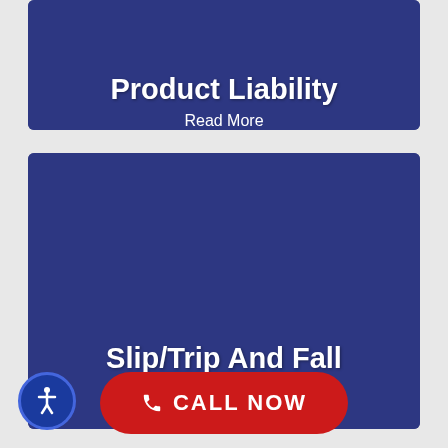Product Liability
Read More
[Figure (photo): Dark blue overlay card with people silhouettes in background]
Slip/Trip And Fall
Read More
[Figure (photo): Dark blue overlay card showing wet floor caution sign in background]